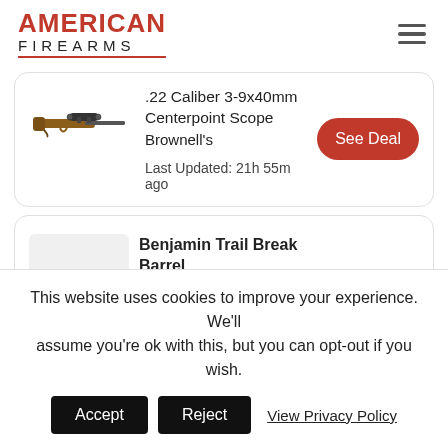AMERICAN FIREARMS
[Figure (other): Product card with rifle image for .22 Caliber 3-9x40mm Centerpoint Scope from Brownell's with See Deal button]
.22 Caliber 3-9x40mm Centerpoint Scope Brownell's
Last Updated: 21h 55m ago
Benjamin Trail Break Barrel Nitro Piston XL1100 Air Rifle $302.88
This website uses cookies to improve your experience. We'll assume you're ok with this, but you can opt-out if you wish.